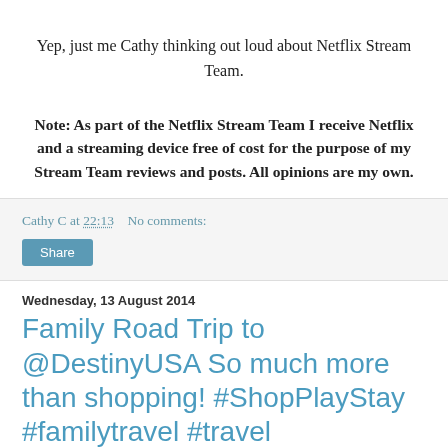Yep, just me Cathy thinking out loud about Netflix Stream Team.
Note: As part of the Netflix Stream Team I receive Netflix and a streaming device free of cost for the purpose of my Stream Team reviews and posts. All opinions are my own.
Cathy C at 22:13   No comments:
Share
Wednesday, 13 August 2014
Family Road Trip to @DestinyUSA So much more than shopping! #ShopPlayStay #familytravel #travel
For years now my girlfriend and I hit the road twice a year for a shopping weekend at Destiny USA, and as you can